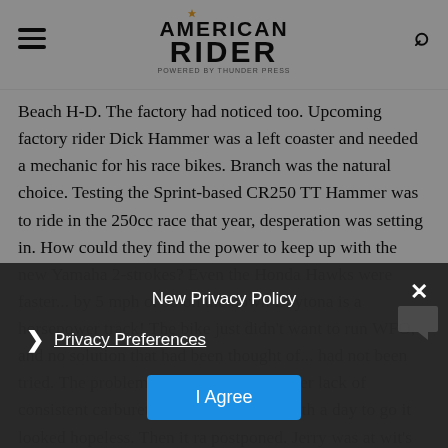American Rider (powered by Thunder Press) - navigation header with hamburger menu and search icon
Beach H-D. The factory had noticed too. Upcoming factory rider Dick Hammer was a left coaster and needed a mechanic for his race bikes. Branch was the natural choice. Testing the Sprint-based CR250 TT Hammer was to ride in the 250cc race that year, desperation was setting in. How could they find the power to keep up with the new Yamaha 2-strokes? Even the Honda Hawks were faster... by 5 mph or so on the bowl. Daytona is a horsepower track! The bike just didn't want to run WFO, and no solution that had been thought of... had not been tried. The problem was carburetion, rather lack of consistent carburetion at full throttle. With a day to go it looked hopeless. Then it ra... postponed. Jerry was at wit's end. He thought and thought and thoug... some more. What if the f... othing in the carb...
New Privacy Policy
Privacy Preferences
I Agree